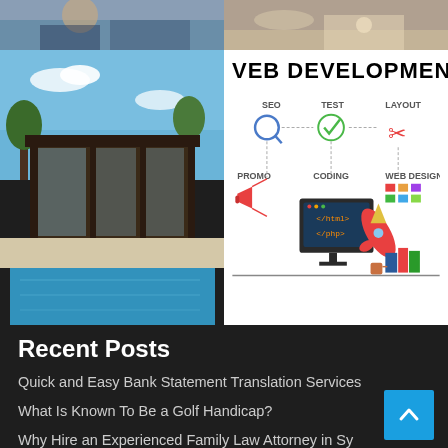[Figure (photo): Top-left: partial image of people in office/business setting, cut off at top]
[Figure (photo): Top-right: partial image of business/office setting, cut off at top]
[Figure (photo): Bottom-left: modern house exterior with swimming pool and blue sky]
[Figure (infographic): Web Development infographic showing SEO, TEST, LAYOUT, CODING, PROMO, WEB DESIGN components with icons, a rocket, and a computer monitor]
Recent Posts
Quick and Easy Bank Statement Translation Services
What Is Known To Be a Golf Handicap?
Why Hire an Experienced Family Law Attorney in Sy
Which Type Of Chemical Peel Is Right For You?